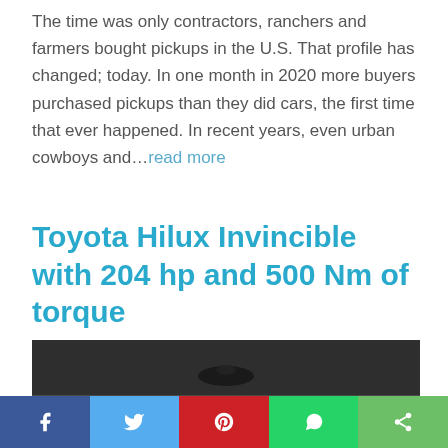The time was only contractors, ranchers and farmers bought pickups in the U.S. That profile has changed; today. In one month in 2020 more buyers purchased pickups than they did cars, the first time that ever happened. In recent years, even urban cowboys and...read more
Toyota Hilux Invincible with 204 hp and 500 Nm of torque
[Figure (photo): Close-up photo of the rear of a Toyota Hilux showing the tailgate area with the HILUX logo in white block letters and a red brake light bar visible, all in dark grey/gunmetal tones]
Social share bar with Facebook, Twitter, Pinterest, WhatsApp, and Share buttons